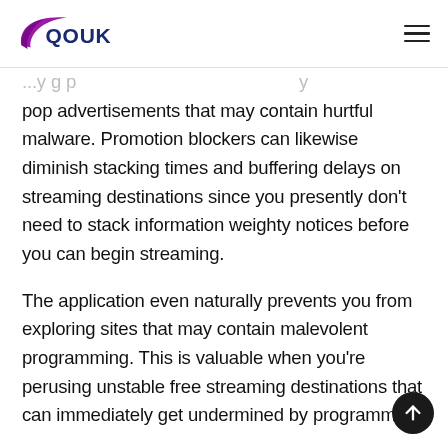QOUK
pop advertisements that may contain hurtful malware. Promotion blockers can likewise diminish stacking times and buffering delays on streaming destinations since you presently don't need to stack information weighty notices before you can begin streaming.

The application even naturally prevents you from exploring sites that may contain malevolent programming. This is valuable when you're perusing unstable free streaming destinations that can immediately get undermined by programmers